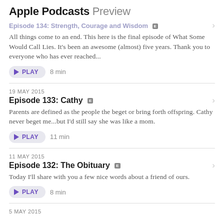Apple Podcasts Preview
Episode 134: Strength, Courage and Wisdom
All things come to an end. This here is the final episode of What Some Would Call Lies. It's been an awesome (almost) five years. Thank you to everyone who has ever reached...
PLAY  8 min
19 MAY 2015
Episode 133: Cathy
Parents are defined as the people the beget or bring forth offspring. Cathy never beget me...but I'd still say she was like a mom.
PLAY  11 min
11 MAY 2015
Episode 132: The Obituary
Today I'll share with you a few nice words about a friend of ours.
PLAY  8 min
5 MAY 2015